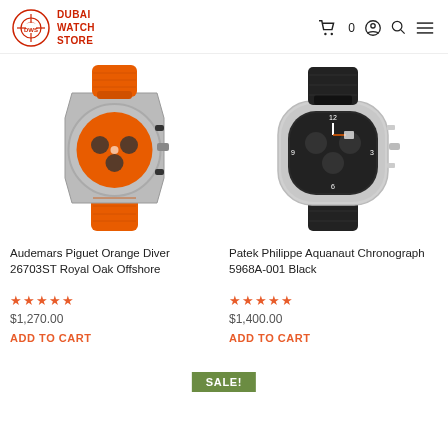Dubai Watch Store — navigation with cart (0), account, search, menu icons
[Figure (photo): Audemars Piguet Orange Diver 26703ST Royal Oak Offshore watch with orange rubber strap and octagonal steel case]
[Figure (photo): Patek Philippe Aquanaut Chronograph 5968A-001 Black watch with dark dial and black leather strap]
Audemars Piguet Orange Diver 26703ST Royal Oak Offshore
★★★★½  $1,270.00  ADD TO CART
Patek Philippe Aquanaut Chronograph 5968A-001 Black
★★★★½  $1,400.00  ADD TO CART
SALE!